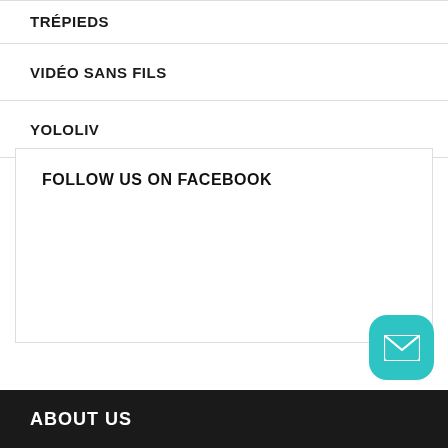TRÉPIEDS
VIDÉO SANS FILS
YOLOLIV
FOLLOW US ON FACEBOOK
ABOUT US